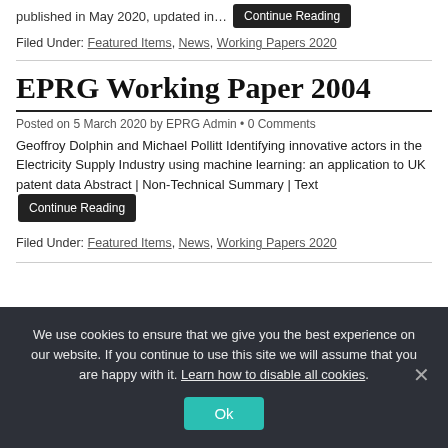published in May 2020, updated in…  Continue Reading
Filed Under: Featured Items, News, Working Papers 2020
EPRG Working Paper 2004
Posted on 5 March 2020 by EPRG Admin • 0 Comments
Geoffroy Dolphin and Michael Pollitt Identifying innovative actors in the Electricity Supply Industry using machine learning: an application to UK patent data Abstract | Non-Technical Summary | Text  Continue Reading
Filed Under: Featured Items, News, Working Papers 2020
We use cookies to ensure that we give you the best experience on our website. If you continue to use this site we will assume that you are happy with it. Learn how to disable all cookies.
Ok